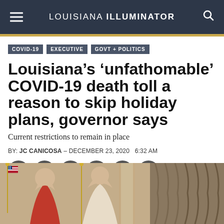LOUISIANA ILLUMINATOR
COVID-19
EXECUTIVE
GOVT + POLITICS
Louisiana’s ‘unfathomable’ COVID-19 death toll a reason to skip holiday plans, governor says
Current restrictions to remain in place
BY: JC CANICOSA – DECEMBER 23, 2020   6:32 AM
[Figure (screenshot): Social sharing icons: Twitter, LinkedIn, Facebook, Email, Link, Print — gray circular buttons]
[Figure (photo): Interior photo showing WPA-style mural with figures painted on wall, American flag, and curtains in background]